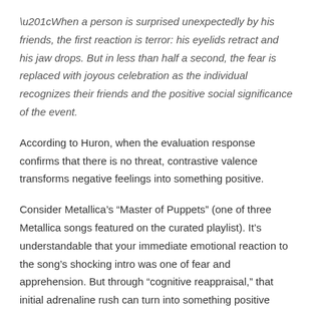“When a person is surprised unexpectedly by his friends, the first reaction is terror: his eyelids retract and his jaw drops. But in less than half a second, the fear is replaced with joyous celebration as the individual recognizes their friends and the positive social significance of the event.
According to Huron, when the evaluation response confirms that there is no threat, contrastive valence transforms negative feelings into something positive.
Consider Metallica’s “Master of Puppets” (one of three Metallica songs featured on the curated playlist). It’s understandable that your immediate emotional reaction to the song’s shocking intro was one of fear and apprehension. But through “cognitive reappraisal,” that initial adrenaline rush can turn into something positive when you realize you’re safe and it’s the music that makes you feel that way.